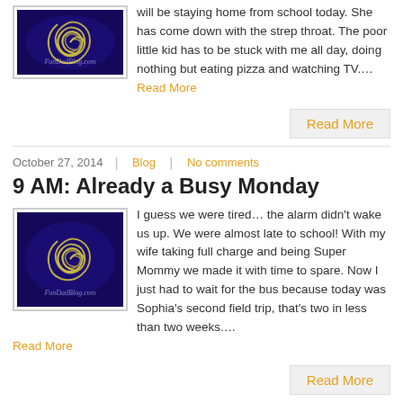will be staying home from school today. She has come down with the strep throat. The poor little kid has to be stuck with me all day, doing nothing but eating pizza and watching TV.... Read More
[Figure (photo): FunDadBlog.com logo — spiral galaxy image on dark purple background with yellow spiral and watermark text]
Read More
October 27, 2014  |  Blog  |  No comments
9 AM: Already a Busy Monday
[Figure (photo): FunDadBlog.com logo — spiral galaxy image on dark purple background with yellow spiral and watermark text]
I guess we were tired… the alarm didn't wake us up. We were almost late to school! With my wife taking full charge and being Super Mommy we made it with time to spare. Now I just had to wait for the bus because today was Sophia's second field trip, that's two in less than two weeks.... Read More
Read More